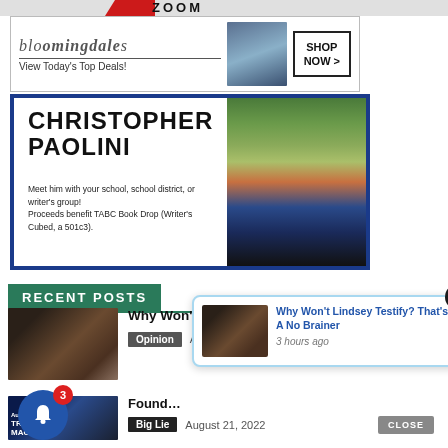[Figure (advertisement): Bloomingdale's advertisement banner: logo text 'bloomingdales', tagline 'View Today's Top Deals!', image of woman with hat, 'SHOP NOW >' button]
[Figure (advertisement): Christopher Paolini book signing advertisement: large bold name 'CHRISTOPHER PAOLINI', text 'Meet him with your school, school district, or writer's group! Proceeds benefit TABC Book Drop (Writer's Cubed, a 501c3).' with colorful stacked books image on right]
RECENT POSTS
[Figure (photo): Thumbnail photo of man in suit standing at podium]
Why Won't Lindsey Testify? That's A No Brainer
Opinion   August 21, 2022
[Figure (photo): Thumbnail of news broadcast showing 'August 21st', 'TRIAL', 'MACHINE' text overlay, man in suit]
Found...
Big Lie   August 21, 2022
[Figure (screenshot): Push notification popup showing article thumbnail and title 'Why Won't Lindsey Testify? That's A No Brainer', time '3 hours ago', with X close button]